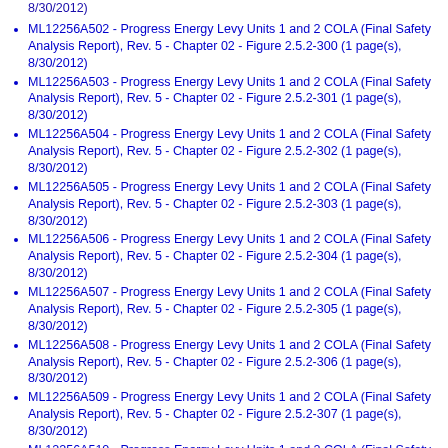8/30/2012)
ML12256A502 - Progress Energy Levy Units 1 and 2 COLA (Final Safety Analysis Report), Rev. 5 - Chapter 02 - Figure 2.5.2-300 (1 page(s), 8/30/2012)
ML12256A503 - Progress Energy Levy Units 1 and 2 COLA (Final Safety Analysis Report), Rev. 5 - Chapter 02 - Figure 2.5.2-301 (1 page(s), 8/30/2012)
ML12256A504 - Progress Energy Levy Units 1 and 2 COLA (Final Safety Analysis Report), Rev. 5 - Chapter 02 - Figure 2.5.2-302 (1 page(s), 8/30/2012)
ML12256A505 - Progress Energy Levy Units 1 and 2 COLA (Final Safety Analysis Report), Rev. 5 - Chapter 02 - Figure 2.5.2-303 (1 page(s), 8/30/2012)
ML12256A506 - Progress Energy Levy Units 1 and 2 COLA (Final Safety Analysis Report), Rev. 5 - Chapter 02 - Figure 2.5.2-304 (1 page(s), 8/30/2012)
ML12256A507 - Progress Energy Levy Units 1 and 2 COLA (Final Safety Analysis Report), Rev. 5 - Chapter 02 - Figure 2.5.2-305 (1 page(s), 8/30/2012)
ML12256A508 - Progress Energy Levy Units 1 and 2 COLA (Final Safety Analysis Report), Rev. 5 - Chapter 02 - Figure 2.5.2-306 (1 page(s), 8/30/2012)
ML12256A509 - Progress Energy Levy Units 1 and 2 COLA (Final Safety Analysis Report), Rev. 5 - Chapter 02 - Figure 2.5.2-307 (1 page(s), 8/30/2012)
ML12256A510 - Progress Energy Levy Units 1 and 2 COLA (Final Safety Analysis Report), Rev. 5 - Chapter 02 - Figure 2.5.2-308 (1 page(s), 8/30/2012)
ML12256A511 - Progress Energy Levy Units 1 and 2 COLA (Final Safety Analysis Report), Rev. 5 - Chapter 02 - Figure 2.5.2-309 (1 page(s), 8/30/2012)
ML12256A512 - Progress Energy Levy Units 1 and 2 COLA (Final Safety Analysis Report), Rev. 5 - Chapter 02 - Figure 2.5.2-310 (1 page(s),